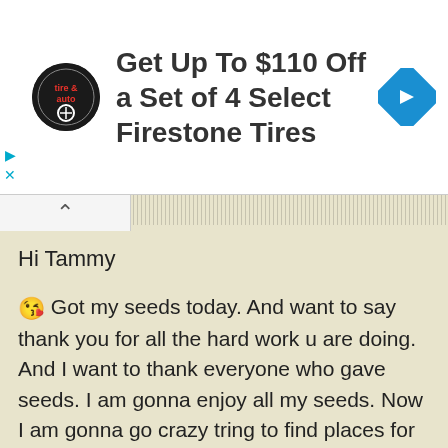[Figure (infographic): Advertisement banner: tire and auto logo circle, text 'Get Up To $110 Off a Set of 4 Select Firestone Tires', blue navigation diamond icon on right. Play and X controls on left.]
Hi Tammy
Got my seeds today. And want to say thank you for all the hard work u are doing. And I want to thank everyone who gave seeds. I am gonna enjoy all my seeds. Now I am gonna go crazy tring to find places for all of them.
Sheri
I sent some palm tree seeds if u want more let me know I have over 500 seeds.
* * * *
Angela